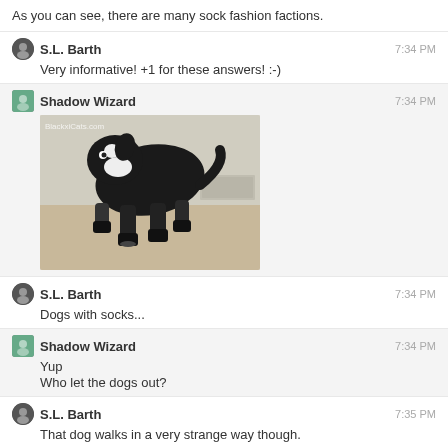As you can see, there are many sock fashion factions.
S.L. Barth — 7:34 PM — Very informative! +1 for these answers! :-)
Shadow Wizard — 7:34 PM
[Figure (photo): A dog wearing black socks/shoes walking on a floor. Watermark: BlackxiCats.com]
S.L. Barth — 7:34 PM — Dogs with socks...
Shadow Wizard — 7:34 PM — Yup
Who let the dogs out?
S.L. Barth — 7:35 PM — That dog walks in a very strange way though.